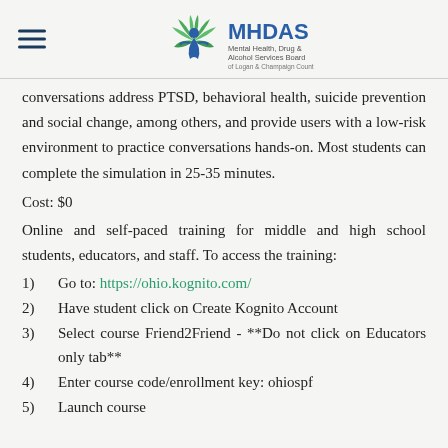MHDAS Mental Health, Drug & Alcohol Services Board of Logan & Champaign Counties
conversations address PTSD, behavioral health, suicide prevention and social change, among others, and provide users with a low-risk environment to practice conversations hands-on. Most students can complete the simulation in 25-35 minutes.
Cost: $0
Online and self-paced training for middle and high school students, educators, and staff. To access the training:
1) Go to: https://ohio.kognito.com/
2) Have student click on Create Kognito Account
3) Select course Friend2Friend - **Do not click on Educators only tab**
4) Enter course code/enrollment key: ohiospf
5) Launch course